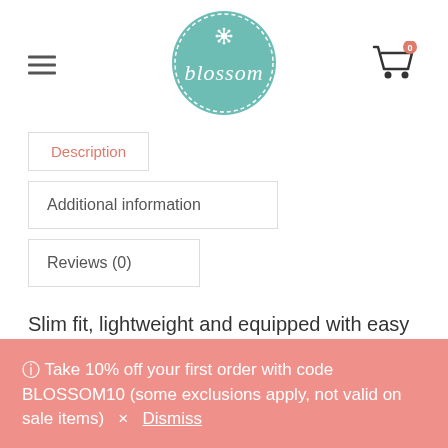[Figure (logo): Blossom shop logo — teal circle with dashed border and white script text 'blossom' with a snowflake icon above]
Description
Additional information
Reviews (0)
Slim fit, lightweight and equipped with easy click rigid latch connectors for safe and secure
ⓘ Take 10% off your first order with code BLOSSOM10 (some exclusions apply, not valid on sale items) × Dismiss